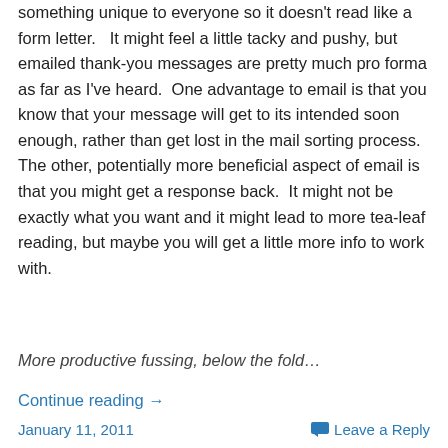something unique to everyone so it doesn't read like a form letter.   It might feel a little tacky and pushy, but emailed thank-you messages are pretty much pro forma as far as I've heard.  One advantage to email is that you know that your message will get to its intended soon enough, rather than get lost in the mail sorting process.  The other, potentially more beneficial aspect of email is that you might get a response back.  It might not be exactly what you want and it might lead to more tea-leaf reading, but maybe you will get a little more info to work with.
More productive fussing, below the fold…
Continue reading →
January 11, 2011   Leave a Reply